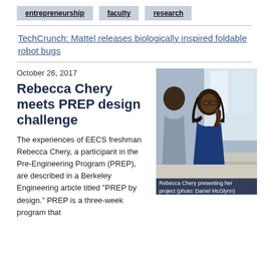entrepreneurship
faculty
research
TechCrunch: Mattel releases biologically inspired foldable robot bugs
October 26, 2017
Rebecca Chery meets PREP design challenge
[Figure (photo): Rebecca Chery presenting her project, holding a microphone, wearing a blue t-shirt, in a classroom setting. Photo by Daniel McGlynn.]
Rebecca Chery presenting her project (photo: Daniel McGlynn)
The experiences of EECS freshman Rebecca Chery, a participant in the Pre-Engineering Program (PREP), are described in a Berkeley Engineering article titled "PREP by design." PREP is a three-week program that